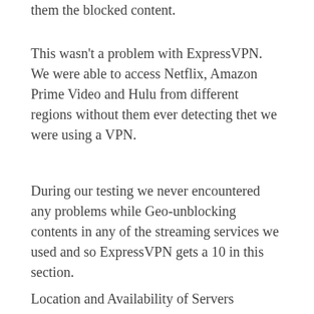them the blocked content.
This wasn't a problem with ExpressVPN. We were able to access Netflix, Amazon Prime Video and Hulu from different regions without them ever detecting thet we were using a VPN.
During our testing we never encountered any problems while Geo-unblocking contents in any of the streaming services we used and so ExpressVPN gets a 10 in this section.
Location and Availability of Servers